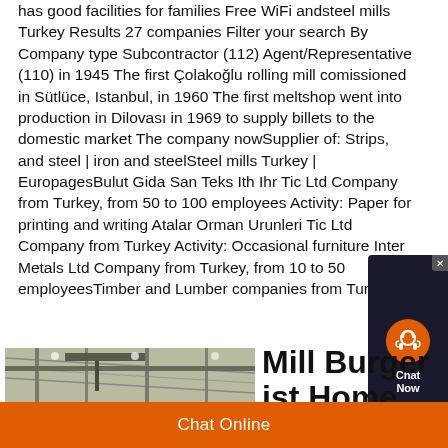has good facilities for families Free WiFi andsteel mills Turkey Results 27 companies Filter your search By Company type Subcontractor (112) Agent/Representative (110) in 1945 The first Çolakoğlu rolling mill comissioned in Sütlüce, Istanbul, in 1960 The first meltshop went into production in Dilovası in 1969 to supply billets to the domestic market The company nowSupplier of: Strips, and steel | iron and steelSteel mills Turkey | EuropagesBulut Gida San Teks Ith Ihr Tic Ltd Company from Turkey, from 50 to 100 employees Activity: Paper for printing and writing Atalar Orman Urunleri Tic Ltd Company from Turkey Activity: Occasional furniture Inter Metals Ltd Company from Turkey, from 10 to 50 employeesTimber and Lumber companies from Turkey
[Figure (photo): Industrial interior photo showing steel mill or warehouse structure with overhead cranes and metal framework]
Mill Burger ist Home
[Figure (other): Chat widget popup with headset icon and 'Chat Now' label on dark background]
Chat Online